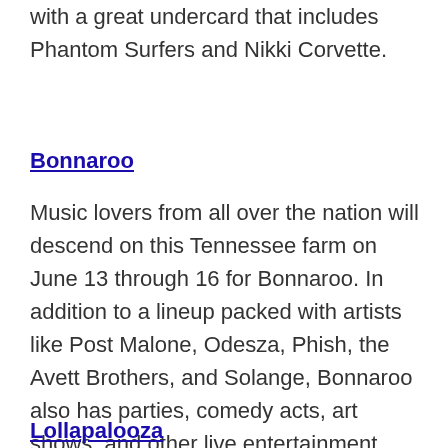with a great undercard that includes Phantom Surfers and Nikki Corvette.
Bonnaroo
Music lovers from all over the nation will descend on this Tennessee farm on June 13 through 16 for Bonnaroo. In addition to a lineup packed with artists like Post Malone, Odesza, Phish, the Avett Brothers, and Solange, Bonnaroo also has parties, comedy acts, art shows, and other live entertainment scattered throughout the campgrounds at all hours.
Lollapalooza